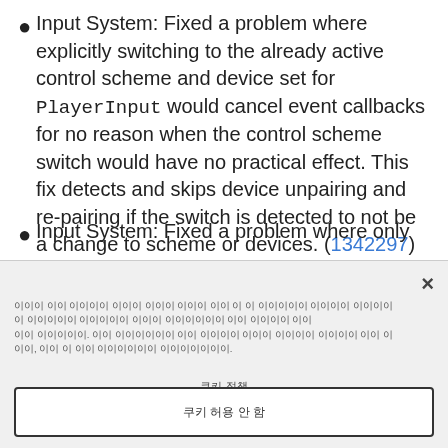Input System: Fixed a problem where explicitly switching to the already active control scheme and device set for PlayerInput would cancel event callbacks for no reason when the control scheme switch would have no practical effect. This fix detects and skips device unpairing and re-pairing if the switch is detected to not be a change to scheme or devices. (1342297)
Input System: Fixed a problem where only
이 사이트 에서 계속 이용할 경우 쿠키 사용에 동의 하는 것 으로 간주합니다. 더욱 더 자세한 내용은 당사의 쿠키 정책을 확인 하세요. 이 팝업을 어떻 게 하 고 싶은 지 알 려 주시 면, 저를 도와 주실 수 있습니다.
쿠키 정책
쿠키 허용 안 함